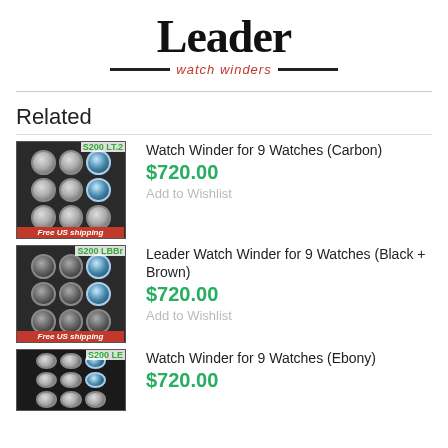[Figure (logo): Leader watch winders logo with large bold serif text 'Leader' and italic red 'watch winders' subtitle flanked by black horizontal bars]
Related
[Figure (photo): Watch winder box for 9 watches in carbon finish, SKU S200 LT.2, with Free US shipping badge]
Watch Winder for 9 Watches (Carbon)
$720.00
Add to Wishlist
[Figure (photo): Watch winder box for 9 watches in Black + Brown finish, SKU S200 LBBr, with Free US shipping badge]
Leader Watch Winder for 9 Watches (Black + Brown)
$720.00
Add to Wishlist
[Figure (photo): Watch winder box for 9 watches in Ebony finish, SKU S200 LE]
Watch Winder for 9 Watches (Ebony)
$720.00